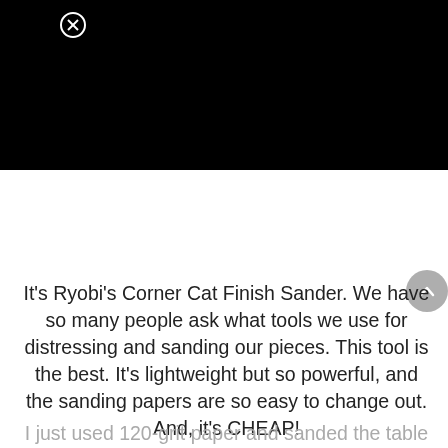[Figure (photo): Black banner/video area at the top of the page with a close (X) button in the upper left corner]
It's Ryobi's Corner Cat Finish Sander.  We have so many people ask what tools we use for distressing and sanding our pieces.  This tool is the best.  It's lightweight but so powerful, and the sanding papers are so easy to change out.  And, it's CHEAP!
I just used 120-grit paper and sanded the table until